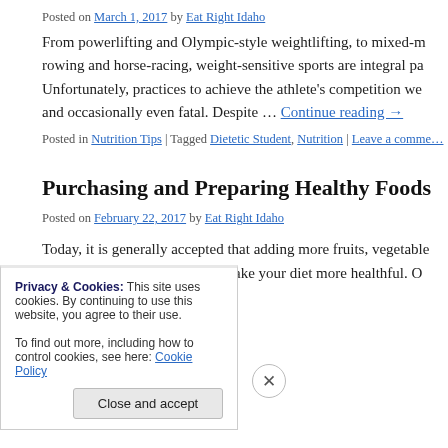Posted on March 1, 2017 by Eat Right Idaho
From powerlifting and Olympic-style weightlifting, to mixed-m… rowing and horse-racing, weight-sensitive sports are integral pa… Unfortunately, practices to achieve the athlete's competition we… and occasionally even fatal. Despite … Continue reading →
Posted in Nutrition Tips | Tagged Dietetic Student, Nutrition | Leave a comme…
Purchasing and Preparing Healthy Foods
Posted on February 22, 2017 by Eat Right Idaho
Today, it is generally accepted that adding more fruits, vegetable… low fat dairy to your diet will make your diet more healthful. O…
Privacy & Cookies: This site uses cookies. By continuing to use this website, you agree to their use. To find out more, including how to control cookies, see here: Cookie Policy